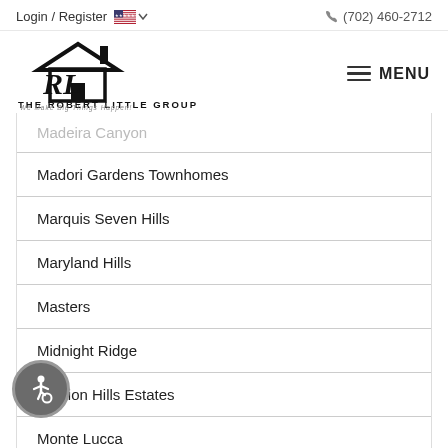Login / Register  (702) 460-2712
[Figure (logo): The Robert Little Group of Remax Advantage logo with house icon and tagline 'We Make Big Things Happen!']
Madeira Canyon
Madori Gardens Townhomes
Marquis Seven Hills
Maryland Hills
Masters
Midnight Ridge
Mission Hills Estates
Monte Lucca